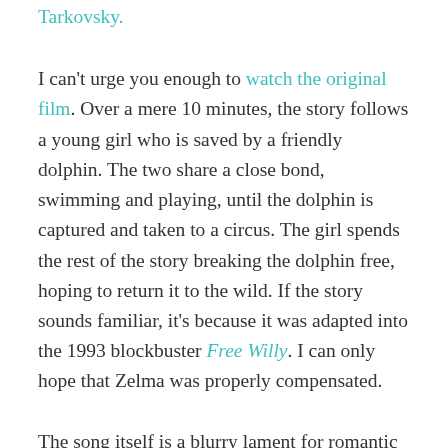Tarkovsky.
I can't urge you enough to watch the original film. Over a mere 10 minutes, the story follows a young girl who is saved by a friendly dolphin. The two share a close bond, swimming and playing, until the dolphin is captured and taken to a circus. The girl spends the rest of the story breaking the dolphin free, hoping to return it to the wild. If the story sounds familiar, it's because it was adapted into the 1993 blockbuster Free Willy. I can only hope that Zelma was properly compensated.
The song itself is a blurry lament for romantic confusion and longing, warmed to life by cello, acoustic guitar, and Russell's iconic reverb-drenched voice. To me, it's the sonic illustration of the exquisite Portuguese word, saudade. Having no direct translation, the word